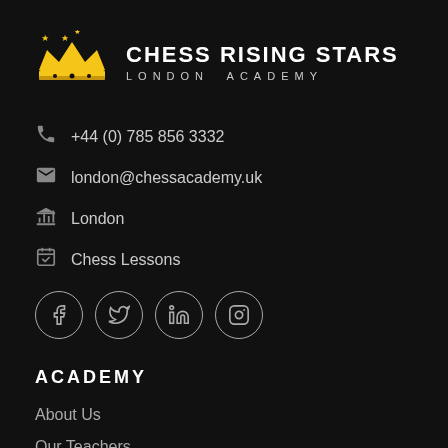[Figure (logo): Chess Rising Stars London Academy logo with gold crown and white text]
+44 (0) 785 856 3332
london@chessacademy.uk
London
Chess Lessons
[Figure (illustration): Social media icons: Facebook, Twitter, LinkedIn, Instagram — white circles with icons]
ACADEMY
About Us
Our Teachers